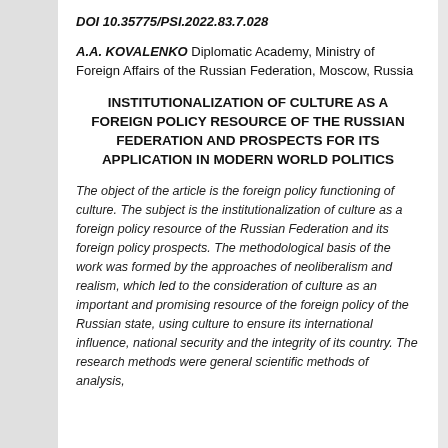DOI 10.35775/PSI.2022.83.7.028
A.A. KOVALENKO Diplomatic Academy, Ministry of Foreign Affairs of the Russian Federation, Moscow, Russia
INSTITUTIONALIZATION OF CULTURE AS A FOREIGN POLICY RESOURCE OF THE RUSSIAN FEDERATION AND PROSPECTS FOR ITS APPLICATION IN MODERN WORLD POLITICS
The object of the article is the foreign policy functioning of culture. The subject is the institutionalization of culture as a foreign policy resource of the Russian Federation and its foreign policy prospects. The methodological basis of the work was formed by the approaches of neoliberalism and realism, which led to the consideration of culture as an important and promising resource of the foreign policy of the Russian state, using culture to ensure its international influence, national security and the integrity of its country. The research methods were general scientific methods of analysis,